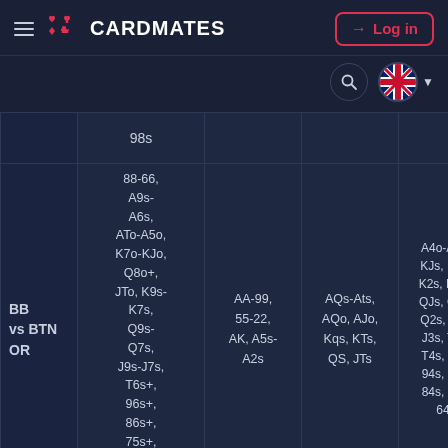CARDMATES
|  | Call | All-in | Raise | Fold |
| --- | --- | --- | --- | --- |
|  | 98s |  |  |  |
| BB vs BTN OR | 88-66, A9s-A6s, ATo-A5o, K7o-KJo, Q8o+, JTo, K9s-K7s, Q9s-Q7s, J9s-J7s, T6s+, 96s+, 86s+, 75s+, 65s+, 54s | AA-99, 55-22, AK, A5s-A2s | AQs-Ats, AQo, AJo, Kqs, KTs, QS, JTs | A4o-A2o, KJs, K6s-K2s, KQo, QJs, Q6s-Q2s, J6s-J3s, T5s, T4s, 95s, 94s, 85s, 84s, 74s, 64s |